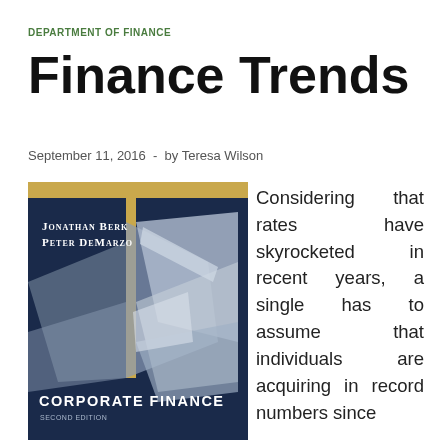DEPARTMENT OF FINANCE
Finance Trends
September 11, 2016  -  by Teresa Wilson
[Figure (illustration): Book cover of 'Corporate Finance, Second Edition' by Jonathan Berk and Peter DeMarzo. Dark navy blue cover with metallic sculptural shapes and a gold/tan top strip. Authors' names in white small caps at top left, title 'CORPORATE FINANCE' in large white letters at bottom, 'SECOND EDITION' in smaller text below.]
Considering that rates have skyrocketed in recent years, a single has to assume that individuals are acquiring in record numbers since